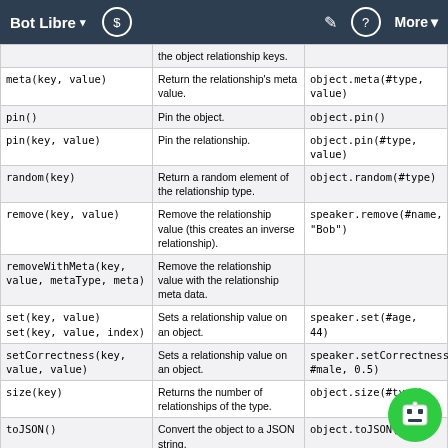Bot Libre ▾  $  ✎  ?  More ▾
| Method | Description | Example |
| --- | --- | --- |
|  | the object relationship keys. |  |
| meta(key, value) | Return the relationship's meta value. | object.meta(#type, value) |
| pin() | Pin the object. | object.pin() |
| pin(key, value) | Pin the relationship. | object.pin(#type, value) |
| random(key) | Return a random element of the relationship type. | object.random(#type) |
| remove(key, value) | Remove the relationship value (this creates an inverse relationship). | speaker.remove(#name, "Bob") |
| removeWithMeta(key, value, metaType, meta) | Remove the relationship value with the relationship meta data. |  |
| set(key, value) set(key, value, index) | Sets a relationship value on an object. | speaker.set(#age, 44) |
| setCorrectness(key, value, value) | Sets a relationship value on an object. | speaker.setCorrectness(#gender, #male, 0.5) |
| size(key) | Returns the number of relationships of the type. | object.size(#type) |
| toJSON() | Convert the object to a JSON string. | object.toJSON() |
| toXML() | Convert the object | object.toXML() |